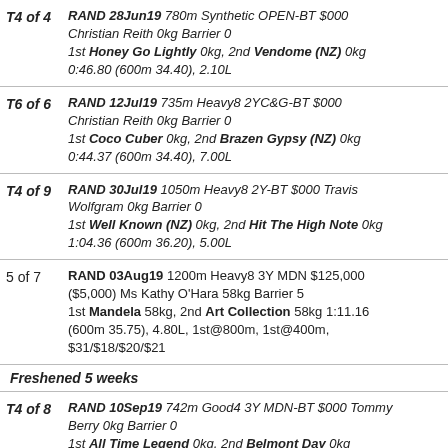T4 of 4 | RAND 28Jun19 780m Synthetic OPEN-BT $000 Christian Reith 0kg Barrier 0 1st Honey Go Lightly 0kg, 2nd Vendome (NZ) 0kg 0:46.80 (600m 34.40), 2.10L
T6 of 6 | RAND 12Jul19 735m Heavy8 2YC&G-BT $000 Christian Reith 0kg Barrier 0 1st Coco Cuber 0kg, 2nd Brazen Gypsy (NZ) 0kg 0:44.37 (600m 34.40), 7.00L
T4 of 9 | RAND 30Jul19 1050m Heavy8 2Y-BT $000 Travis Wolfgram 0kg Barrier 0 1st Well Known (NZ) 0kg, 2nd Hit The High Note 0kg 1:04.36 (600m 36.20), 5.00L
5 of 7 | RAND 03Aug19 1200m Heavy8 3Y MDN $125,000 ($5,000) Ms Kathy O'Hara 58kg Barrier 5 1st Mandela 58kg, 2nd Art Collection 58kg 1:11.16 (600m 35.75), 4.80L, 1st@800m, 1st@400m, $31/$18/$20/$21
Freshened 5 weeks
T4 of 8 | RAND 10Sep19 742m Good4 3Y MDN-BT $000 Tommy Berry 0kg Barrier 0 1st All Time Legend 0kg, 2nd Belmont Day 0kg 0:43.21 (600m 32.90), 3.40L